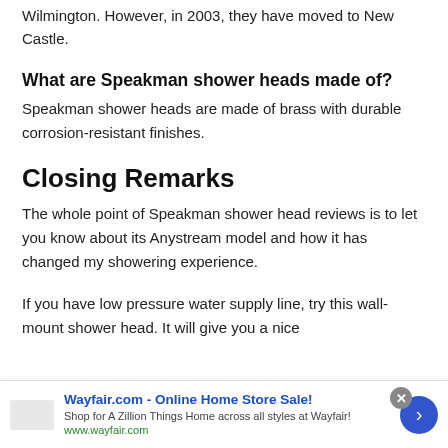Wilmington. However, in 2003, they have moved to New Castle.
What are Speakman shower heads made of?
Speakman shower heads are made of brass with durable corrosion-resistant finishes.
Closing Remarks
The whole point of Speakman shower head reviews is to let you know about its Anystream model and how it has changed my showering experience.
If you have low pressure water supply line, try this wall-mount shower head. It will give you a nice
Wayfair.com - Online Home Store Sale! Shop for A Zillion Things Home across all styles at Wayfair! www.wayfair.com